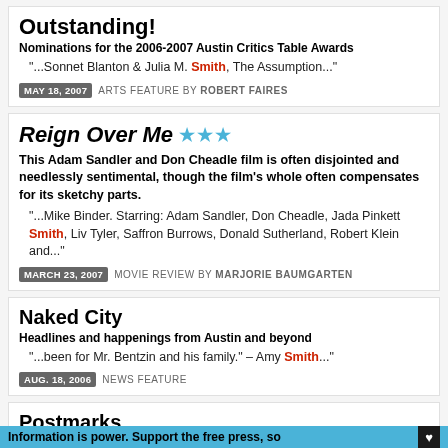Outstanding!
Nominations for the 2006-2007 Austin Critics Table Awards
"...Sonnet Blanton & Julia M. Smith, The Assumption..."
MAY 18, 2007  ARTS FEATURE BY ROBERT FAIRES
Reign Over Me ★★★
This Adam Sandler and Don Cheadle film is often disjointed and needlessly sentimental, though the film's whole often compensates for its sketchy parts.
"...Mike Binder. Starring: Adam Sandler, Don Cheadle, Jada Pinkett Smith, Liv Tyler, Saffron Burrows, Donald Sutherland, Robert Klein and..."
MARCH 23, 2007  MOVIE REVIEW BY MARJORIE BAUMGARTEN
Naked City
Headlines and happenings from Austin and beyond
"...been for Mr. Bentzin and his family." – Amy Smith..."
AUG. 18, 2006  NEWS FEATURE
Postmarks
Our readers talk back.
Information is power. Support the free press, so